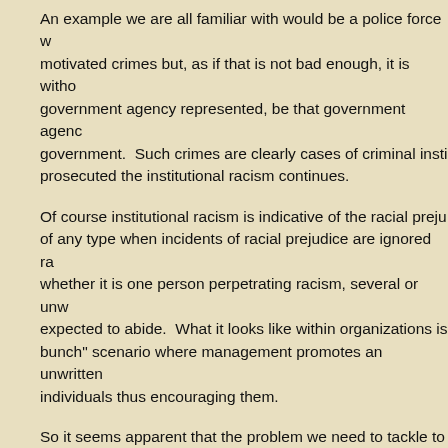An example we are all familiar with would be a police force w... motivated crimes but, as if that is not bad enough, it is witho... government agency represented, be that government agenc... government.  Such crimes are clearly cases of criminal insti... prosecuted the institutional racism continues.
Of course institutional racism is indicative of the racial preju... of any type when incidents of racial prejudice are ignored ra... whether it is one person perpetrating racism, several or unw... expected to abide.  What it looks like within organizations is... bunch" scenario where management promotes an unwritten... individuals thus encouraging them.
So it seems apparent that the problem we need to tackle to... problem that condones individual prejudiced attitudes and b... are non-racist it does nothing to solve the problems.  Institu... everyone be anti-racist.  And that means everyone being pr... question of how that can be accomplished, is raised.
S... ...c ...is that... ...institution...